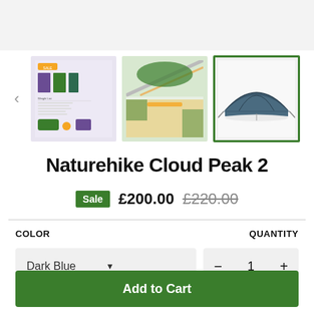[Figure (photo): Top faded background showing tent product image thumbnails row with three product photos: first showing tent components/specs sheet, second showing tent assembly detail, third (active/selected with green border) showing dark blue dome tent assembled outdoors.]
Naturehike Cloud Peak 2
Sale £200.00 £220.00
COLOR
Dark Blue

QUANTITY
1
Add to Cart